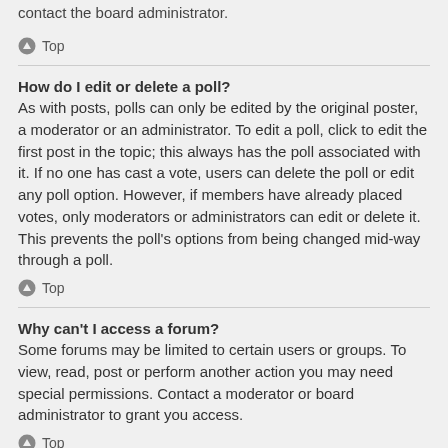contact the board administrator.
⬆ Top
How do I edit or delete a poll?
As with posts, polls can only be edited by the original poster, a moderator or an administrator. To edit a poll, click to edit the first post in the topic; this always has the poll associated with it. If no one has cast a vote, users can delete the poll or edit any poll option. However, if members have already placed votes, only moderators or administrators can edit or delete it. This prevents the poll's options from being changed mid-way through a poll.
⬆ Top
Why can't I access a forum?
Some forums may be limited to certain users or groups. To view, read, post or perform another action you may need special permissions. Contact a moderator or board administrator to grant you access.
⬆ Top
Why can't I add attachments?